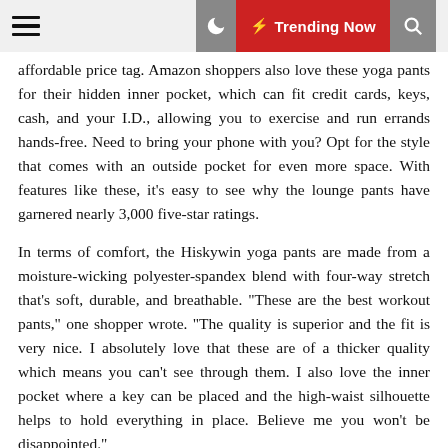Trending Now
affordable price tag. Amazon shoppers also love these yoga pants for their hidden inner pocket, which can fit credit cards, keys, cash, and your I.D., allowing you to exercise and run errands hands-free. Need to bring your phone with you? Opt for the style that comes with an outside pocket for even more space. With features like these, it’s easy to see why the lounge pants have garnered nearly 3,000 five-star ratings.
In terms of comfort, the Hiskywin yoga pants are made from a moisture-wicking polyester-spandex blend with four-way stretch that’s soft, durable, and breathable. “These are the best workout pants,” one shopper wrote. “The quality is superior and the fit is very nice. I absolutely love that these are of a thicker quality which means you can’t see through them. I also love the inner pocket where a key can be placed and the high-waist silhouette helps to hold everything in place. Believe me you won’t be disappointed.”